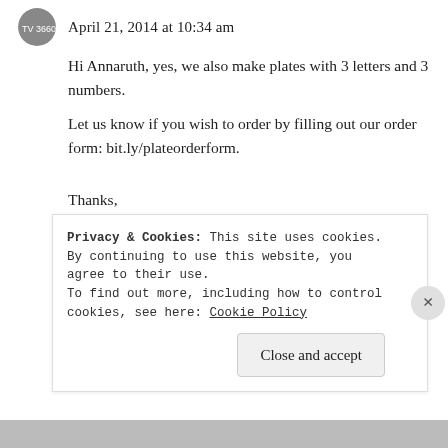April 21, 2014 at 10:34 am
Hi Annaruth, yes, we also make plates with 3 letters and 3 numbers.
Let us know if you wish to order by filling out our order form: bit.ly/plateorderform.
Thanks,
Conduction Plate Manila
★ Like
Log in to Reply
Privacy & Cookies: This site uses cookies. By continuing to use this website, you agree to their use.
To find out more, including how to control cookies, see here: Cookie Policy
Close and accept